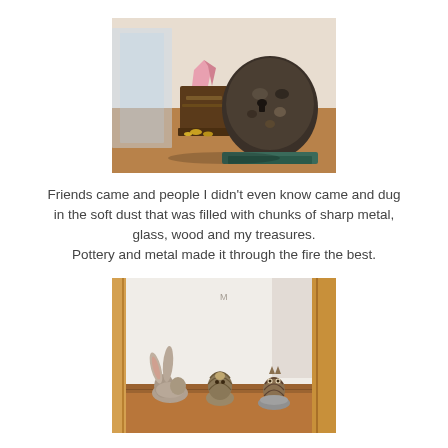[Figure (photo): Two objects on a wooden surface: a decorative tin or container with a pink crystal or mineral on top, and a large dark rusty or corroded round metal object on a green base, possibly a vintage kettle or bomb-shaped sculpture. A clear acrylic stand is visible on the left.]
Friends came and people I didn't even know came and dug in the soft dust that was filled with chunks of sharp metal, glass, wood and my treasures.
Pottery and metal made it through the fire the best.
[Figure (photo): Three small ceramic or pottery animal figurines on a wooden shelf in front of a white wall: a rabbit on the left, a hedgehog or owl in the middle, and an owl on the right sitting on a stone. A wooden frame is visible on the right edge.]